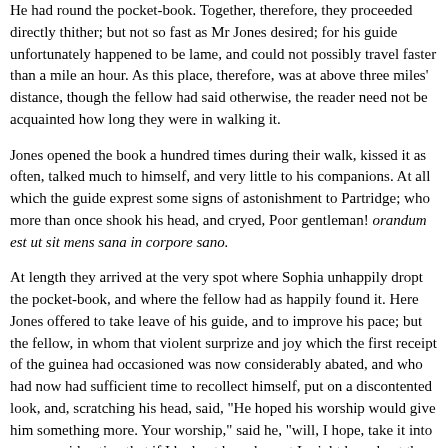He had found the pocket-book. Together, therefore, they proceeded directly thither; but not so fast as Mr Jones desired; for his guide unfortunately happened to be lame, and could not possibly travel faster than a mile an hour. As this place, therefore, was at above three miles' distance, though the fellow had said otherwise, the reader need not be acquainted how long they were in walking it.
Jones opened the book a hundred times during their walk, kissed it as often, talked much to himself, and very little to his companions. At all which the guide exprest some signs of astonishment to Partridge; who more than once shook his head, and cryed, Poor gentleman! orandum est ut sit mens sana in corpore sano.
At length they arrived at the very spot where Sophia unhappily dropt the pocket-book, and where the fellow had as happily found it. Here Jones offered to take leave of his guide, and to improve his pace; but the fellow, in whom that violent surprize and joy which the first receipt of the guinea had occasioned was now considerably abated, and who had now had sufficient time to recollect himself, put on a discontented look, and, scratching his head, said, "He hoped his worship would give him something more. Your worship," said he, "will, I hope, take it into your consideration that if I had not been honest I might have kept the whole." And, indeed, this the reader must confess to have been true. "If the paper there," said he, "be worth L100, I am sure the finding it deserves more than a guinea. Besides, suppose your worship should never see the lady, nor give it her--and, though your worship looks and talks very much like a gentleman, yet I have only your worship's bare word; and, certainly, if the right owner ben't to be found, it all belongs to the first finder. I hope your worship will consider of all these matters: I am but a poor man, and therefore don't desire to have all; but it is but reasonable I should have my share. Your worship looks like a good man, and, I hope, will consider my